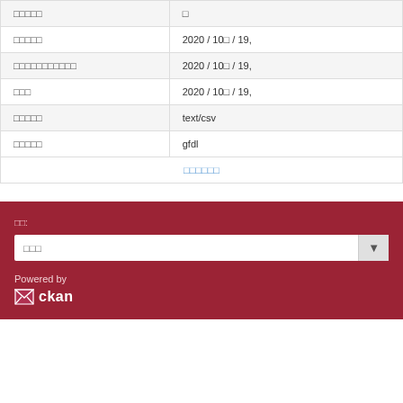| □□□□□ | □ |
| □□□□□ | 2020 / 10□ / 19, |
| □□□□□□□□□□□ | 2020 / 10□ / 19, |
| □□□ | 2020 / 10□ / 19, |
| □□□□□ | text/csv |
| □□□□□ | gfdl |
| □□□□□□ |  |
□□:
□□□
Powered by
[Figure (logo): CKAN logo with envelope icon and text 'ckan']